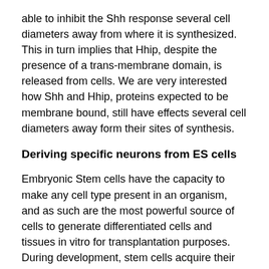able to inhibit the Shh response several cell diameters away from where it is synthesized. This in turn implies that Hhip, despite the presence of a trans-membrane domain, is released from cells. We are very interested how Shh and Hhip, proteins expected to be membrane bound, still have effects several cell diameters away form their sites of synthesis.
Deriving specific neurons from ES cells
Embryonic Stem cells have the capacity to make any cell type present in an organism, and as such are the most powerful source of cells to generate differentiated cells and tissues in vitro for transplantation purposes. During development, stem cells acquire their ultimate phenotype in response to inductive signals present in their immediate environment, and in principle, it is possible to create cell culture conditions that would result in widespread differentiation of the desired cell type. We are defining conditions to generate specific neuronal cell types in ES cell-derived neuralized Embryoid Bodies by using combinations